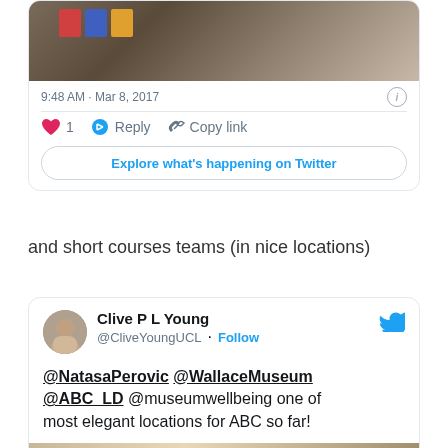[Figure (screenshot): Top portion of a Twitter/X tweet card showing a photo of colorful blocks on papers, with timestamp '9:48 AM · Mar 8, 2017', like (1), Reply, Copy link actions, and 'Explore what's happening on Twitter' button]
and short courses teams (in nice locations)
[Figure (screenshot): Twitter/X tweet card from Clive P L Young (@CliveYoungUCL) with Follow button and tweet text: '@NatasaPerovic @WallaceMuseum @ABC_LD @museumwellbeing one of most elegant locations for ABC so far!' with a partial photo at bottom]